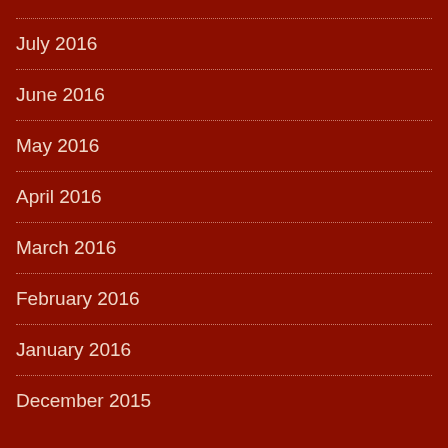July 2016
June 2016
May 2016
April 2016
March 2016
February 2016
January 2016
December 2015